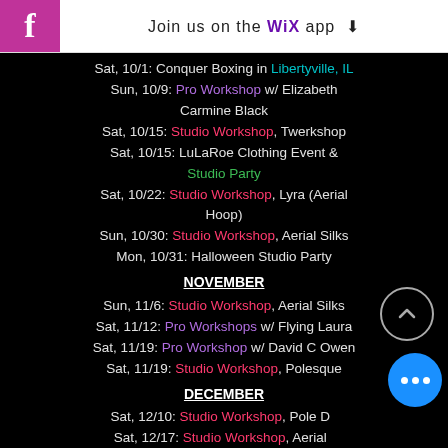Join us on the WiX app
Sat, 10/1: Conquer Boxing in Libertyville, IL
Sun, 10/9: Pro Workshop w/ Elizabeth Carmine Black
Sat, 10/15: Studio Workshop, Twerkshop
Sat, 10/15: LuLaRoe Clothing Event & Studio Party
Sat, 10/22: Studio Workshop, Lyra (Aerial Hoop)
Sun, 10/30: Studio Workshop, Aerial Silks
Mon, 10/31: Halloween Studio Party
NOVEMBER
Sun, 11/6: Studio Workshop, Aerial Silks
Sat, 11/12: Pro Workshops w/ Flying Laura
Sat, 11/19: Pro Workshop w/ David C Owen
Sat, 11/19: Studio Workshop, Polesque
DECEMBER
Sat, 12/10: Studio Workshop, Pole D...
Sat, 12/17: Studio Workshop, Aerial...
Sun, 12/18: Studio Workshop, Lyra (Aerial Hoop)
Wed, 12/21: Body Paint and Black Light Bash at Austin's Fuel Room in Libertyville, IL